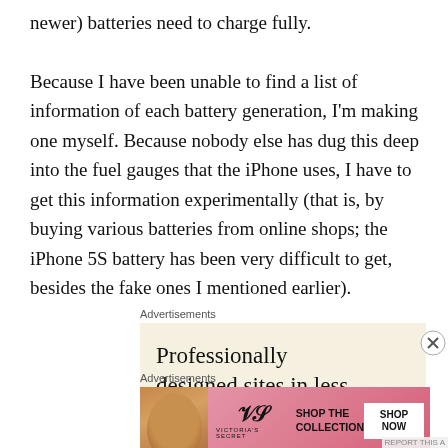newer) batteries need to charge fully.

Because I have been unable to find a list of information of each battery generation, I'm making one myself. Because nobody else has dug this deep into the fuel gauges that the iPhone uses, I have to get this information experimentally (that is, by buying various batteries from online shops; the iPhone 5S battery has been very difficult to get, besides the fake ones I mentioned earlier).
[Figure (other): Advertisement banner: beige/cream background with text 'Professionally designed sites in less' (partially visible), appears to be a WordPress or website builder ad. Partially cropped at bottom with an X close button on the right.]
[Figure (other): Victoria's Secret advertisement with a woman's photo on the left, VS logo in center, text 'SHOP THE COLLECTION' and a white 'SHOP NOW' button on the right. Pink gradient background.]